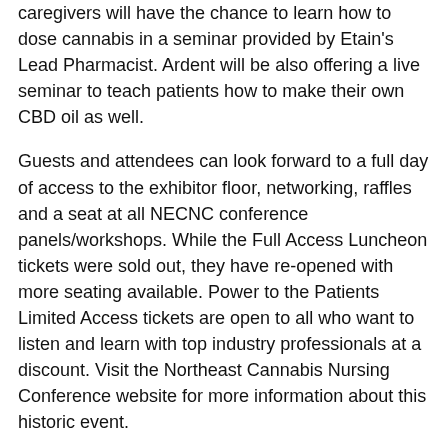caregivers will have the chance to learn how to dose cannabis in a seminar provided by Etain's Lead Pharmacist. Ardent will be also offering a live seminar to teach patients how to make their own CBD oil as well.
Guests and attendees can look forward to a full day of access to the exhibitor floor, networking, raffles and a seat at all NECNC conference panels/workshops. While the Full Access Luncheon tickets were sold out, they have re-opened with more seating available. Power to the Patients Limited Access tickets are open to all who want to listen and learn with top industry professionals at a discount. Visit the Northeast Cannabis Nursing Conference website for more information about this historic event.
Jade Sancho-Duser, Director of Programming
NECNC
info@cannanurseconference.com